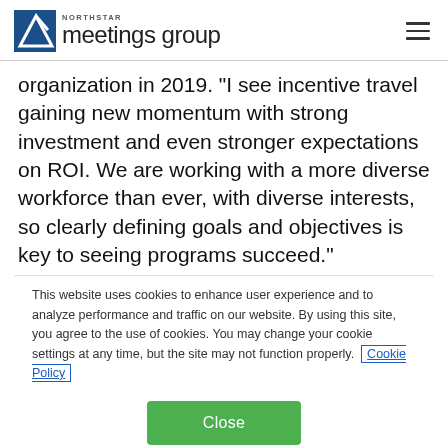NorthStar meetings group
organization in 2019. "I see incentive travel gaining new momentum with strong investment and even stronger expectations on ROI. We are working with a more diverse workforce than ever, with diverse interests, so clearly defining goals and objectives is key to seeing programs succeed."
This website uses cookies to enhance user experience and to analyze performance and traffic on our website. By using this site, you agree to the use of cookies. You may change your cookie settings at any time, but the site may not function properly. Cookie Policy
Close